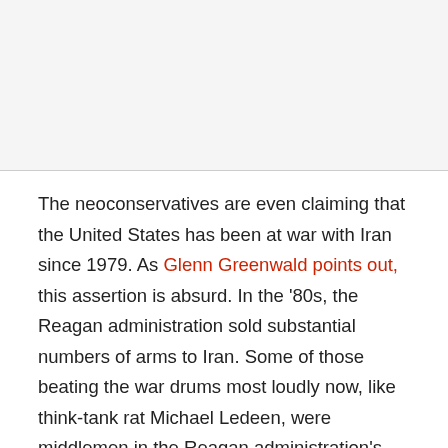The neoconservatives are even claiming that the United States has been at war with Iran since 1979. As Glenn Greenwald points out, this assertion is absurd. In the '80s, the Reagan administration sold substantial numbers of arms to Iran. Some of those beating the war drums most loudly now, like think-tank rat Michael Ledeen, were middlemen in the Reagan administration's unconstitutional weapons sales to Tehran. The sales would have been a form of treason if in fact the United States had been at war with Iran at that time, so Ledeen is apparently accusing himself of